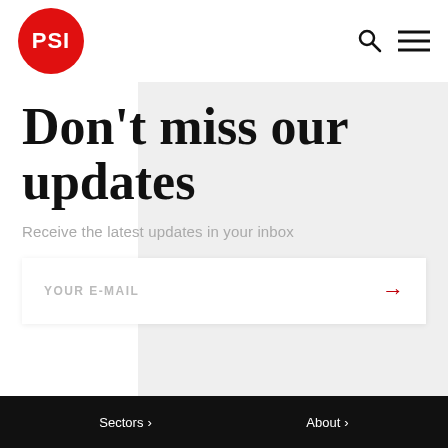PSI
Don't miss our updates
Receive the latest updates in your inbox
YOUR E-MAIL
Sectors >   About >